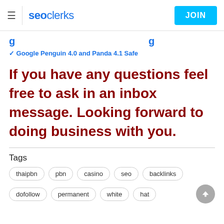seoclerks | JOIN
✓ Google Penguin 4.0 and Panda 4.1 Safe
If you have any questions feel free to ask in an inbox message. Looking forward to doing business with you.
Tags
thaipbn
pbn
casino
seo
backlinks
dofollow
permanent
white
hat